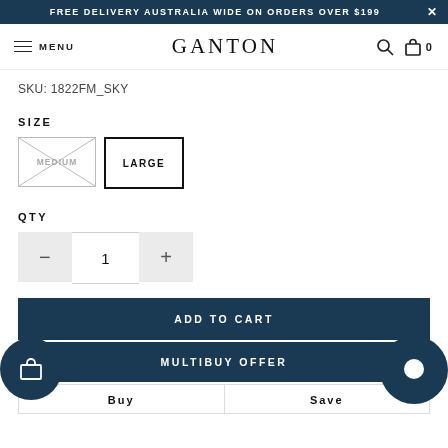FREE DELIVERY AUSTRALIA WIDE ON ORDERS OVER $199
[Figure (screenshot): Ganton e-commerce navigation bar with menu icon, brand name GANTON, search icon, and cart icon showing 0 items]
SKU: 1822FM_SKY
SIZE
[Figure (infographic): Size selector showing MEDIUM (crossed out/unavailable) and LARGE (available, selected with bold border)]
QTY
[Figure (infographic): Quantity selector showing minus button, value 1, plus button]
ADD TO CART
MULTIBUY OFFER
| Buy | Save |
| --- | --- |